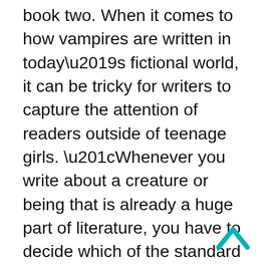book two. When it comes to how vampires are written in today’s fictional world, it can be tricky for writers to capture the attention of readers outside of teenage girls. “Whenever you write about a creature or being that is already a huge part of literature, you have to decide which of the standard rules of that creature to follow,” Autrey said. “There have been myths and lore about vampire-like creatures and demons all over the world that suck blood from their victims. Not all were based upon a dead person clawing out of the grave. Some legends of the dhampir and strigoi have them